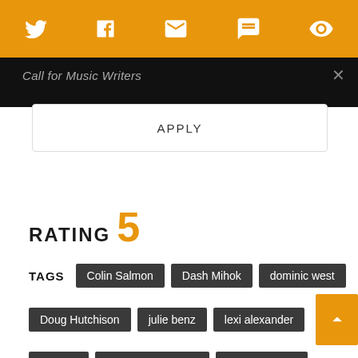Twitter, Facebook, Email, SMS, RSS icons
Call for Music Writers
APPLY
RATING 5
TAGS  Colin Salmon  Dash Mihok  dominic west  Doug Hutchison  julie benz  lexi alexander  On Dvd  punisher war zone  ray stevenson